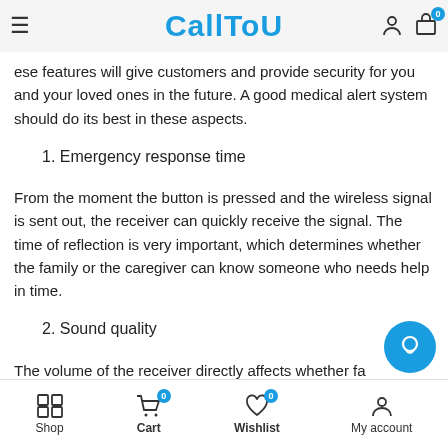CallToU
ese features will give customers and provide security for you and your loved ones in the future. A good medical alert system should do its best in these aspects.
1. Emergency response time
From the moment the button is pressed and the wireless signal is sent out, the receiver can quickly receive the signal. The time of reflection is very important, which determines whether the family or the caregiver can know someone who needs help in time.
2. Sound quality
The volume of the receiver directly affects whether fa
Shop  Cart  Wishlist  My account